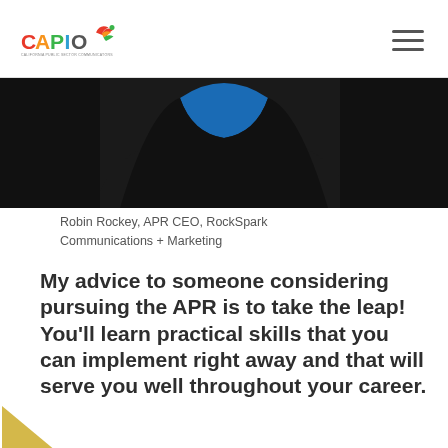CAPIO — California Public Sector Communicators
[Figure (photo): Partial photo of a person wearing a black jacket and blue top, cropped showing shoulders and upper chest area on a dark background.]
Robin Rockey, APR CEO, RockSpark Communications + Marketing
My advice to someone considering pursuing the APR is to take the leap! You’ll learn practical skills that you can implement right away and that will serve you well throughout your career.